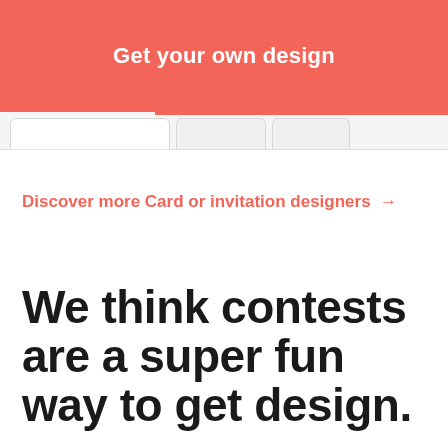Get your own design
Discover more Card or invitation designers →
We think contests are a super fun way to get design.